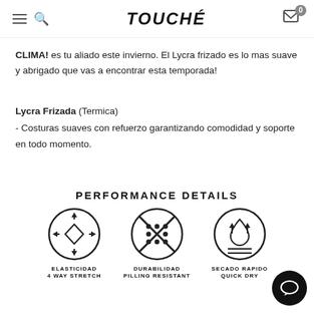TOUCHÉ
CLIMA! es tu aliado este invierno. El Lycra frizado es lo mas suave y abrigado que vas a encontrar esta temporada!
Lycra Frizada (Termica)
- Costuras suaves con refuerzo garantizando comodidad y soporte en todo momento.
PERFORMANCE DETAILS
[Figure (infographic): Three circular icons: Elasticidad 4 Way Stretch (arrows pointing outward), Durabilidad Pilling Resistant (dots with cross), Secado Rapido Quick Dry (water drop with arrows)]